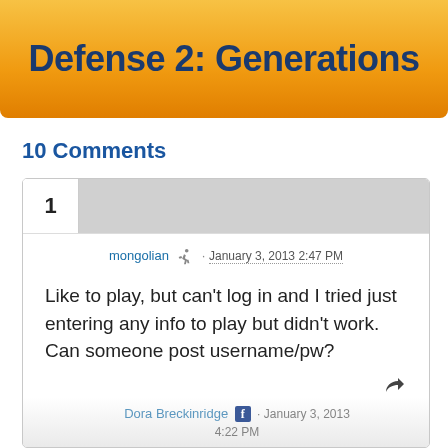Defense 2: Generations
10 Comments
1
mongolian · January 3, 2013 2:47 PM
Like to play, but can't log in and I tried just entering any info to play but didn't work. Can someone post username/pw?
Dora Breckinridge · January 3, 2013 4:22 PM